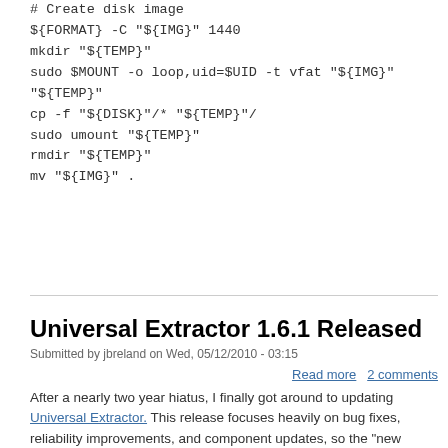# Create disk image
${FORMAT} -C "${IMG}" 1440
mkdir "${TEMP}"
sudo $MOUNT -o loop,uid=$UID -t vfat "${IMG}" "${TEMP}"
cp -f "${DISK}"/* "${TEMP}"/
sudo umount "${TEMP}"
rmdir "${TEMP}"
mv "${IMG}" .
Universal Extractor 1.6.1 Released
Submitted by jbreland on Wed, 05/12/2010 - 03:15
Read more  2 comments
After a nearly two year hiatus, I finally got around to updating Universal Extractor. This release focuses heavily on bug fixes, reliability improvements, and component updates, so the "new features" list is rather